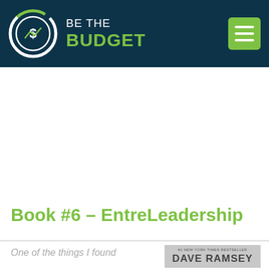[Figure (logo): Be The Budget website header with circular logo containing a stylized dollar sign/chart icon, text 'BE THE BUDGET' in white and green, and a green hamburger menu button on the right, all on a dark navy background.]
Book #6 – EntreLeadership
One of the things I found
[Figure (photo): Dave Ramsey book cover - #1 New York Times Bestseller, showing 'DAVE RAMSEY' in large letters on a gray background]